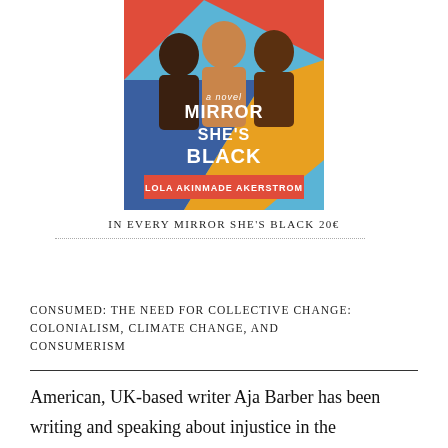[Figure (illustration): Book cover of 'In Every Mirror She's Black' by Lola Akinmade Åkerström. The cover shows illustrated figures of people with colorful abstract shapes. Text on cover reads: 'MIRROR SHE'S BLACK', 'a novel', 'LOLA AKINMADE AKERSTROM'.]
IN EVERY MIRROR SHE'S BLACK 20€
CONSUMED: THE NEED FOR COLLECTIVE CHANGE: COLONIALISM, CLIMATE CHANGE, AND CONSUMERISM
American, UK-based writer Aja Barber has been writing and speaking about injustice in the